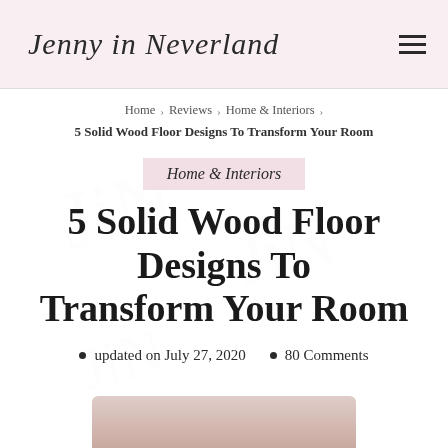Jenny in Neverland
Home › Reviews › Home & Interiors ›
5 Solid Wood Floor Designs To Transform Your Room
Home & Interiors
5 Solid Wood Floor Designs To Transform Your Room
updated on July 27, 2020  •  80 Comments
[Figure (photo): Partial view of a room photo at the bottom of the page]